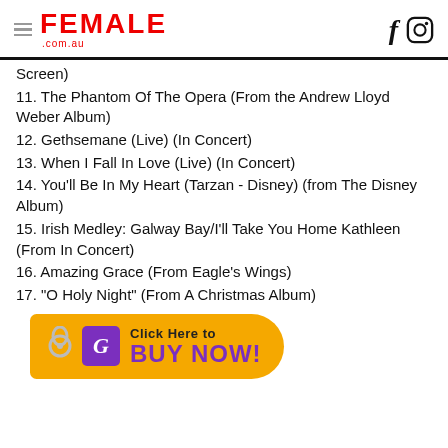FEMALE .com.au
Screen)
11. The Phantom Of The Opera (From the Andrew Lloyd Weber Album)
12. Gethsemane (Live) (In Concert)
13. When I Fall In Love (Live) (In Concert)
14. You'll Be In My Heart (Tarzan - Disney) (from The Disney Album)
15. Irish Medley: Galway Bay/I'll Take You Home Kathleen (From In Concert)
16. Amazing Grace (From Eagle's Wings)
17. "O Holy Night" (From A Christmas Album)
[Figure (infographic): Click Here to BUY NOW! promotional button with orange tag design, purple G logo box, and keyring graphic]